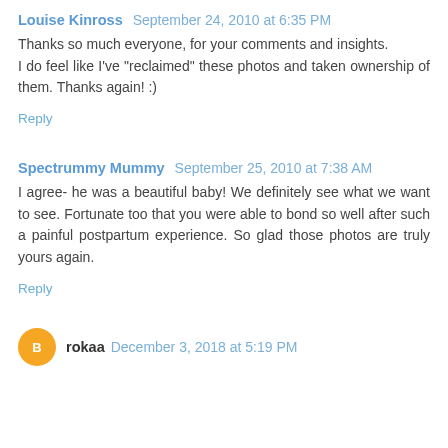Louise Kinross  September 24, 2010 at 6:35 PM
Thanks so much everyone, for your comments and insights.
I do feel like I've "reclaimed" these photos and taken ownership of them. Thanks again! :)
Reply
Spectrummy Mummy  September 25, 2010 at 7:38 AM
I agree- he was a beautiful baby! We definitely see what we want to see. Fortunate too that you were able to bond so well after such a painful postpartum experience. So glad those photos are truly yours again.
Reply
rokaa  December 3, 2018 at 5:19 PM